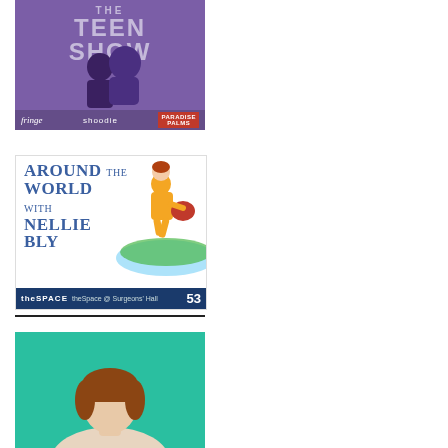[Figure (photo): THE TEEN SHOW poster with purple background, featuring silhouettes of teenagers. Shows 'fringe', 'shoodie', and 'PARADISE' branding at bottom.]
[Figure (illustration): Around the World with Nellie Bly show poster featuring illustrated cartoon character running around a globe, with theSpace @ Surgeons Hall venue info and number 53.]
[Figure (photo): Person with short brown hair on teal/green background, partial view showing head and shoulders.]